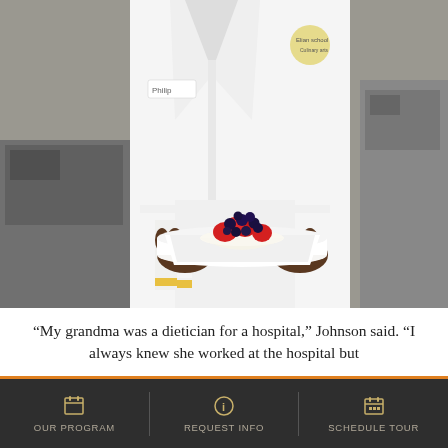[Figure (photo): A chef in white uniform wearing a name tag 'Philip' holds a white square plate with a bowl of fresh fruit (strawberries and blueberries) in a commercial kitchen.]
“My grandma was a dietician for a hospital,” Johnson said. “I always knew she worked at the hospital but
OUR PROGRAM | REQUEST INFO | SCHEDULE TOUR